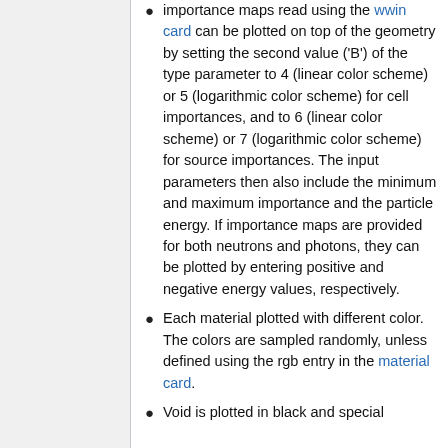Importance maps read using the wwin card can be plotted on top of the geometry by setting the second value ('B') of the type parameter to 4 (linear color scheme) or 5 (logarithmic color scheme) for cell importances, and to 6 (linear color scheme) or 7 (logarithmic color scheme) for source importances. The input parameters then also include the minimum and maximum importance and the particle energy. If importance maps are provided for both neutrons and photons, they can be plotted by entering positive and negative energy values, respectively.
Each material plotted with different color. The colors are sampled randomly, unless defined using the rgb entry in the material card.
Void is plotted in black and special